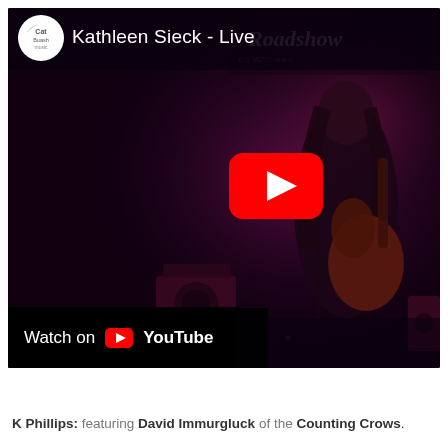[Figure (screenshot): YouTube video thumbnail showing Kathleen Sieck performing live on stage with a guitar under purple stage lighting. The video header shows the CatBuash Music channel logo and the title 'Kathleen Sieck - Live'. A red YouTube play button is centered on the right side. The bottom bar shows 'Watch on YouTube' text. A banner in the upper right reads 'Roadshow'. Two amplifiers are visible on stage.]
K Phillips: featuring David Immurgluck of the Counting Crows.